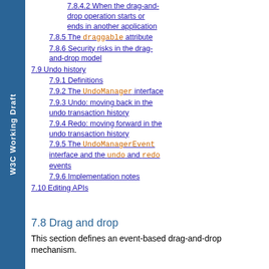7.8.4.2 When the drag-and-drop operation starts or ends in another application
7.8.5 The draggable attribute
7.8.6 Security risks in the drag-and-drop model
7.9 Undo history
7.9.1 Definitions
7.9.2 The UndoManager interface
7.9.3 Undo: moving back in the undo transaction history
7.9.4 Redo: moving forward in the undo transaction history
7.9.5 The UndoManagerEvent interface and the undo and redo events
7.9.6 Implementation notes
7.10 Editing APIs
7.8 Drag and drop
This section defines an event-based drag-and-drop mechanism.